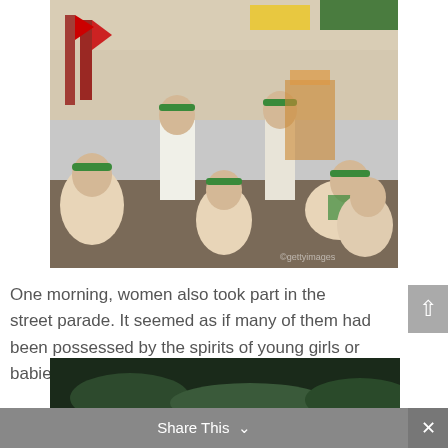[Figure (photo): Group of people wearing green headbands and white clothing at a street parade or festival. Some are seated on the ground, others standing. Red flags and decorated structures visible in background.]
One morning, women also took part in the street parade. It seemed as if many of them had been possessed by the spirits of young girls or babies.
[Figure (photo): Partial view of a dark scene with green foliage visible at the bottom of the page.]
Share This ∨